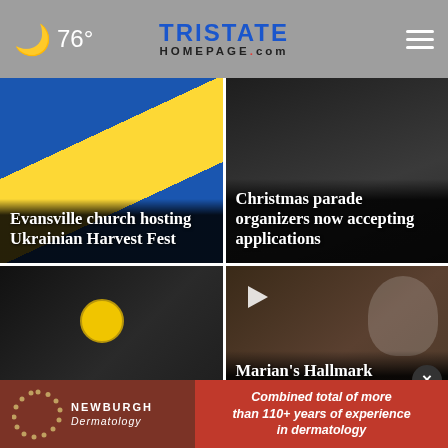76° TriState Homepage.com
[Figure (screenshot): News card: Ukrainian flag colors background. Headline: Evansville church hosting Ukrainian Harvest Fest]
Evansville church hosting Ukrainian Harvest Fest
[Figure (screenshot): News card: dark background with vehicle. Headline: Christmas parade organizers now accepting applications]
Christmas parade organizers now accepting applications
[Figure (screenshot): News card: pickleball court with yellow ball. Headline: Groundbreaking ceremony set for County]
Groundbreaking ceremony set for County
[Figure (screenshot): News card: Snoopy stuffed animal at Hallmark store. Headline: Marian's Hallmark]
Marian's Hallmark
[Figure (logo): Newburgh Dermatology advertisement banner with dotted circle logo. Text: Combined total of more than 110+ years of experience in dermatology]